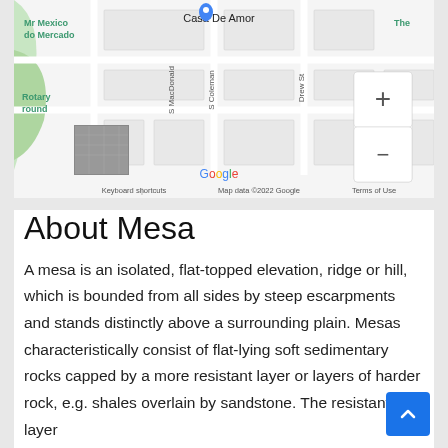[Figure (map): Google Maps screenshot showing street map with Casa De Amor location marked, streets including S MacDonald, S Coleman, Drew St, Rotary Round area, with zoom controls (+/-), Google branding, keyboard shortcuts and map data attribution. Small satellite photo inset visible bottom left.]
About Mesa
A mesa is an isolated, flat-topped elevation, ridge or hill, which is bounded from all sides by steep escarpments and stands distinctly above a surrounding plain. Mesas characteristically consist of flat-lying soft sedimentary rocks capped by a more resistant layer or layers of harder rock, e.g. shales overlain by sandstone. The resistant layer